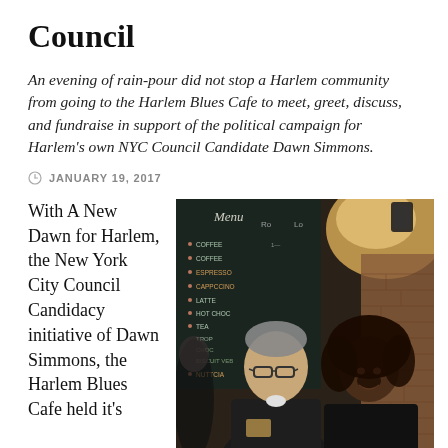Council
An evening of rain-pour did not stop a Harlem community from going to the Harlem Blues Cafe to meet, greet, discuss, and fundraise in support of the political campaign for Harlem's own NYC Council Candidate Dawn Simmons.
JANUARY 19, 2017
With A New Dawn for Harlem, the New York City Council Candidacy initiative of Dawn Simmons, the Harlem Blues Cafe held it's
[Figure (photo): Two people posing in front of a chalkboard menu at the Harlem Blues Cafe. A man with glasses on the left and a woman with curly hair on the right. Brick wall visible in background.]